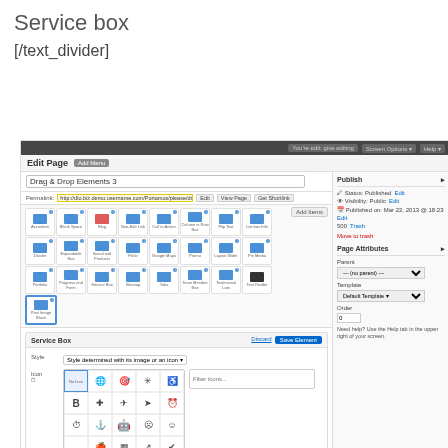Service box
[/text_divider]
[Figure (screenshot): WordPress Edit Page screenshot showing Drag & Drop Elements 3 page editor with Service Box element settings panel open, displaying icon picker, style dropdown, icon color/size controls, and image upload options. Right sidebar shows Publish and Page Attributes panels.]